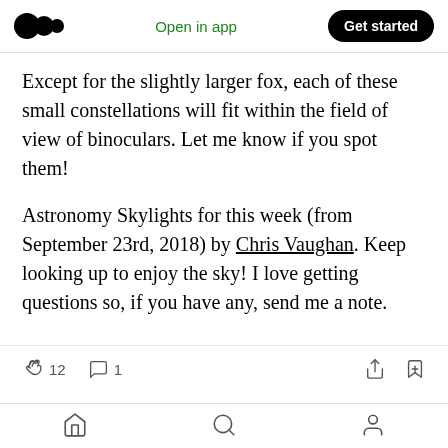Medium app header with logo, Open in app, Get started button
Except for the slightly larger fox, each of these small constellations will fit within the field of view of binoculars. Let me know if you spot them!
Astronomy Skylights for this week (from September 23rd, 2018) by Chris Vaughan. Keep looking up to enjoy the sky! I love getting questions so, if you have any, send me a note.
12 claps, 1 comment, share and bookmark icons, home, search, profile bottom navigation